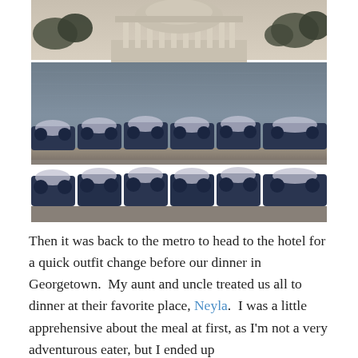[Figure (photo): Photograph of paddle boats docked in the foreground with the Tidal Basin water and the Jefferson Memorial visible in the background, taken in Washington D.C.]
Then it was back to the metro to head to the hotel for a quick outfit change before our dinner in Georgetown.  My aunt and uncle treated us all to dinner at their favorite place, Neyla.  I was a little apprehensive about the meal at first, as I'm not a very adventurous eater, but I ended up